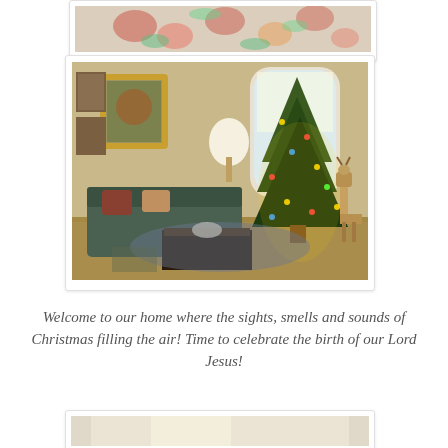[Figure (photo): Top partial photo of floral fabric or decoration, cropped at top of page]
[Figure (photo): Interior living room decorated for Christmas with a large decorated Christmas tree near a window, ornate gold mirror, floral sofa, coffee table, and deer figurine]
Welcome to our home where the sights, smells and sounds of Christmas filling the air!  Time to celebrate the birth of our Lord Jesus!
[Figure (photo): Partial bottom photo, bottom edge of page, appears to show a bright interior room]